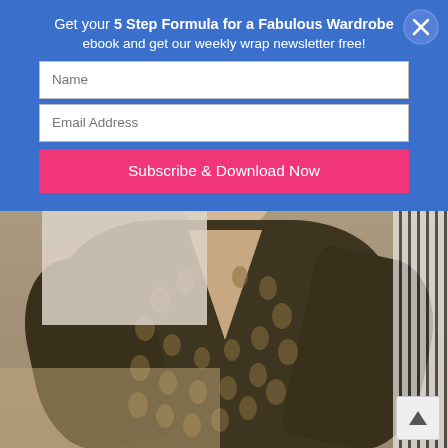[Figure (photo): A mannequin wearing a dark olive/brown open-knit crochet sweater with V-neck in a retail clothing store. Background shows fashion posters with models and clothing racks.]
Get your 5 Step Formula for a Fabulous Wardrobe ebook and get our weekly wrap newsletter free!
Name
Email Address
Subscribe & Download Now